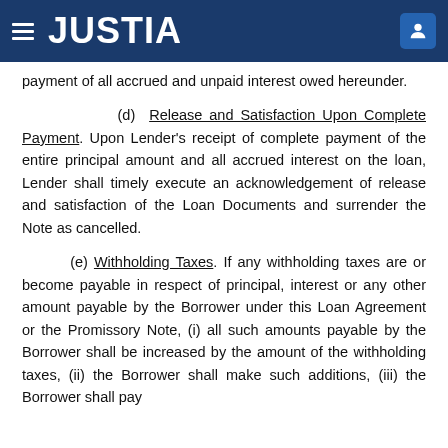JUSTIA
payment of all accrued and unpaid interest owed hereunder.
(d) Release and Satisfaction Upon Complete Payment. Upon Lender's receipt of complete payment of the entire principal amount and all accrued interest on the loan, Lender shall timely execute an acknowledgement of release and satisfaction of the Loan Documents and surrender the Note as cancelled.
(e) Withholding Taxes. If any withholding taxes are or become payable in respect of principal, interest or any other amount payable by the Borrower under this Loan Agreement or the Promissory Note, (i) all such amounts payable by the Borrower shall be increased by the amount of the withholding taxes, (ii) the Borrower shall make such additions, (iii) the Borrower shall pay